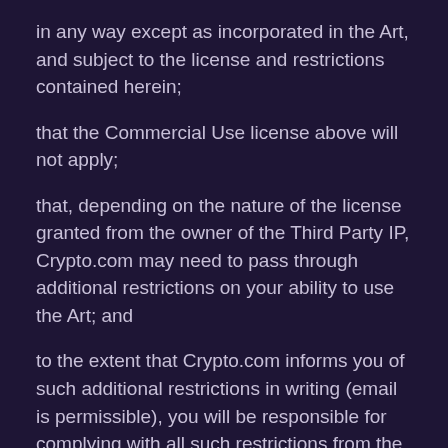in any way except as incorporated in the Art, and subject to the license and restrictions contained herein;
that the Commercial Use license above will not apply;
that, depending on the nature of the license granted from the owner of the Third Party IP, Crypto.com may need to pass through additional restrictions on your ability to use the Art; and
to the extent that Crypto.com informs you of such additional restrictions in writing (email is permissible), you will be responsible for complying with all such restrictions from the date that you receive the notice, and that failure to do so will be deemed a breach of this license. The restrictions in this Section will survive the